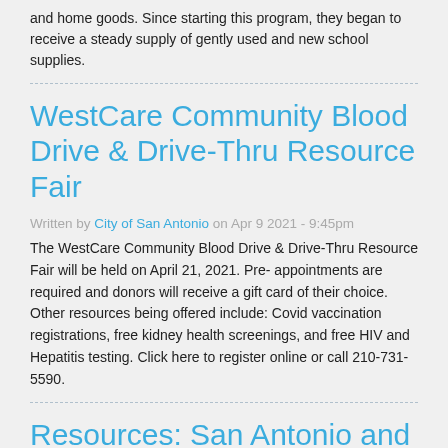and home goods. Since starting this program, they began to receive a steady supply of gently used and new school supplies.
WestCare Community Blood Drive & Drive-Thru Resource Fair
Written by City of San Antonio on Apr 9 2021 - 9:45pm
The WestCare Community Blood Drive & Drive-Thru Resource Fair will be held on April 21, 2021. Pre- appointments are required and donors will receive a gift card of their choice. Other resources being offered include: Covid vaccination registrations, free kidney health screenings, and free HIV and Hepatitis testing. Click here to register online or call 210-731-5590.
Resources: San Antonio and Bexar County Food, Water,